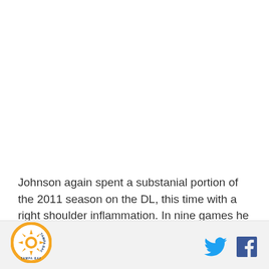Johnson again spent a substanial portion of the 2011 season on the DL, this time with a right shoulder inflammation. In nine games he posted a 3-1 record with a devilishly low 1.64 ERA in 60.1 innings and a
[Figure (logo): Tampa Bay circular logo with orange and yellow sun/star design and text 'TAMPA BAY' around the border]